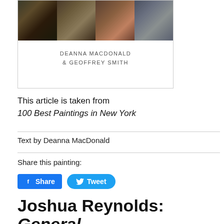[Figure (illustration): Book cover thumbnail showing multiple painting panels at top with authors' names below: DEANNA MACDONALD & GEOFFREY SMITH]
This article is taken from
100 Best Paintings in New York
Text by Deanna MacDonald
Share this painting:
Joshua Reynolds: General